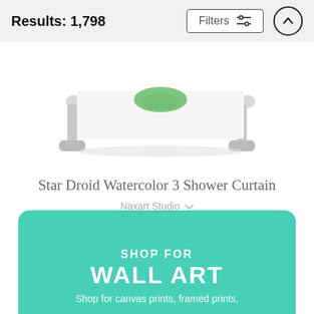Results: 1,798
[Figure (photo): Partial product image showing bottom portion of a shower curtain on a white rod with small feet]
Star Droid Watercolor 3 Shower Curtain
Naxart Studio
$65 (strikethrough) $52
SHOP FOR WALL ART Shop for canvas prints, framed prints,